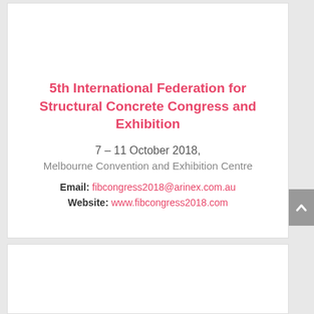5th International Federation for Structural Concrete Congress and Exhibition
7 – 11 October 2018, Melbourne Convention and Exhibition Centre
Email: fibcongress2018@arinex.com.au
Website: www.fibcongress2018.com